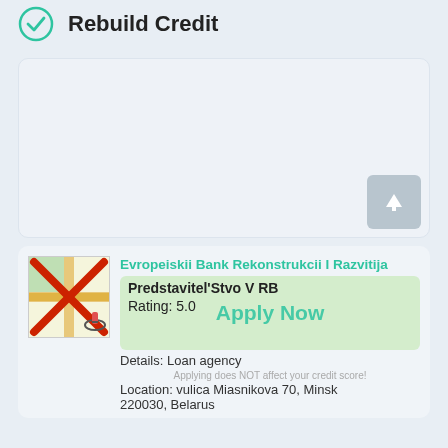Rebuild Credit
[Figure (screenshot): Empty text area input box with light blue background and upload button in bottom right corner]
Evropeiskii Bank Rekonstrukcii I Razvitija Predstavitel'Stvo V RB
Rating: 5.0
Details: Loan agency
Applying does NOT affect your credit score!
Location: vulica Miasnikova 70, Minsk
220030, Belarus